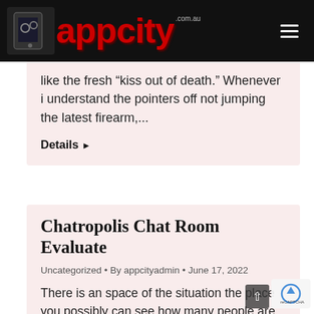appcity.com.au
like the fresh “kiss out of death.” Whenever i understand the pointers off not jumping the latest firearm,...
Details ▶
Chatropolis Chat Room Evaluate
Uncategorized • By appcityadmin • June 17, 2022
There is an space of the situation the place you possibly can see how many people are on-line and which rooms they’re in, nonetheless. Providing servers geographically nearer to the consumer may enhance effectivity. We reserve the most effective...